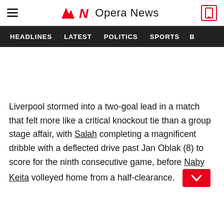Opera News
HEADLINES   LATEST   POLITICS   SPORTS   B
Liverpool stormed into a two-goal lead in a match that felt more like a critical knockout tie than a group stage affair, with Salah completing a magnificent dribble with a deflected drive past Jan Oblak (8) to score for the ninth consecutive game, before Naby Keita volleyed home from a half-clearance.